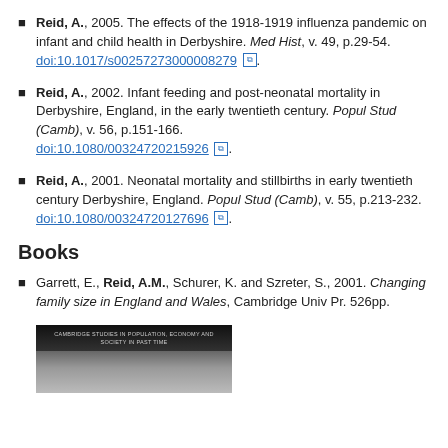Reid, A., 2005. The effects of the 1918-1919 influenza pandemic on infant and child health in Derbyshire. Med Hist, v. 49, p.29-54. doi:10.1017/s00257273000008279.
Reid, A., 2002. Infant feeding and post-neonatal mortality in Derbyshire, England, in the early twentieth century. Popul Stud (Camb), v. 56, p.151-166. doi:10.1080/00324720215926.
Reid, A., 2001. Neonatal mortality and stillbirths in early twentieth century Derbyshire, England. Popul Stud (Camb), v. 55, p.213-232. doi:10.1080/00324720127696.
Books
Garrett, E., Reid, A.M., Schurer, K. and Szreter, S., 2001. Changing family size in England and Wales, Cambridge Univ Pr. 526pp.
[Figure (photo): Book cover image for Changing family size in England and Wales, Cambridge Studies in Population, Economy and Society in Past Time series. Dark cover with historical photograph.]